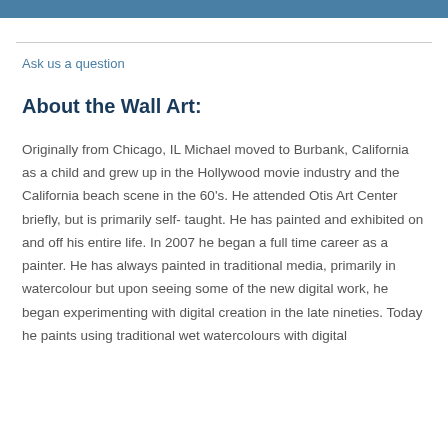Ask us a question
About the Wall Art:
Originally from Chicago, IL Michael moved to Burbank, California as a child and grew up in the Hollywood movie industry and the California beach scene in the 60's. He attended Otis Art Center briefly, but is primarily self- taught. He has painted and exhibited on and off his entire life. In 2007 he began a full time career as a painter. He has always painted in traditional media, primarily in watercolour but upon seeing some of the new digital work, he began experimenting with digital creation in the late nineties. Today he paints using traditional wet watercolours with digital